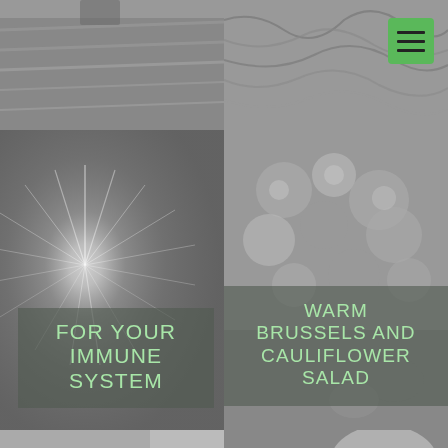[Figure (photo): Top-left: yoga or exercise mat/roof tiles, grayscale photo]
[Figure (photo): Top-right: tangled sprouts or greens, grayscale photo with hamburger menu icon overlay]
[Figure (photo): Middle-left: bright starburst sunlight, grayscale, with text overlay FOR YOUR IMMUNE SYSTEM]
FOR YOUR IMMUNE SYSTEM
[Figure (photo): Middle-right: Brussels sprouts and cauliflower salad, grayscale, with text overlay WARM BRUSSELS AND CAULIFLOWER SALAD]
WARM BRUSSELS AND CAULIFLOWER SALAD
[Figure (photo): Bottom-left: man with arms outstretched, grayscale, with text overlay HEART-CENTRED BREATHING EXERCISES]
HEART-CENTRED BREATHING EXERCISES
[Figure (photo): Bottom-right: autumn trees, grayscale, with text overlay FOR FALL]
FOR FALL